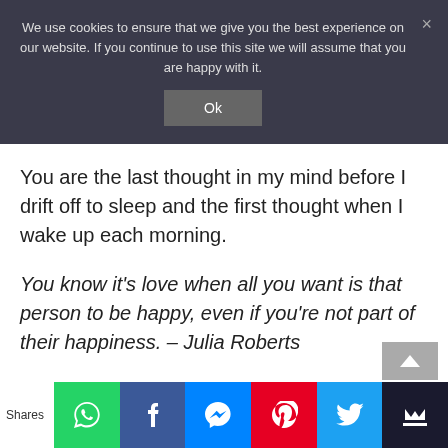We use cookies to ensure that we give you the best experience on our website. If you continue to use this site we will assume that you are happy with it.
Ok
You are the last thought in my mind before I drift off to sleep and the first thought when I wake up each morning.
You know it's love when all you want is that person to be happy, even if you're not part of their happiness. – Julia Roberts
Shares